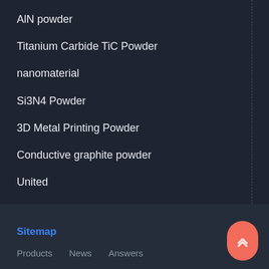AlN powder
Titanium Carbide TiC Powder
nanomaterial
Si3N4 Powder
3D Metal Printing Powder
Conductive graphite powder
United
Manganese oxide Mn2O3
Hollow Glass Beads
Sitemap   Products   News   Answers